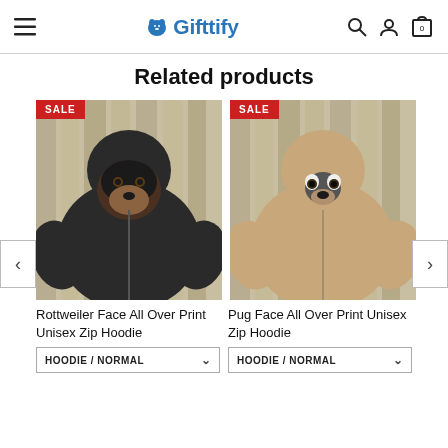Gifttify — navigation header with hamburger menu, logo, search, account, and cart icons
Related products
[Figure (photo): Rottweiler Face All Over Print Unisex Zip Hoodie product photo with SALE badge]
[Figure (photo): Pug Face All Over Print Unisex Zip Hoodie product photo with SALE badge]
Rottweiler Face All Over Print Unisex Zip Hoodie
Pug Face All Over Print Unisex Zip Hoodie
HOODIE / NORMAL
HOODIE / NORMAL